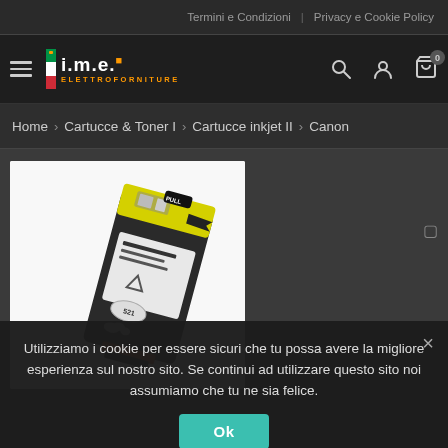Termini e Condizioni | Privacy e Cookie Policy
[Figure (logo): IME Elettroforniture logo with Italian flag and orange text]
Home > Cartucce & Toner I > Cartucce inkjet II > Canon
[Figure (photo): Canon ink cartridge CLI-521 product photo on white background]
Utilizziamo i cookie per essere sicuri che tu possa avere la migliore esperienza sul nostro sito. Se continui ad utilizzare questo sito noi assumiamo che tu ne sia felice.
Ok